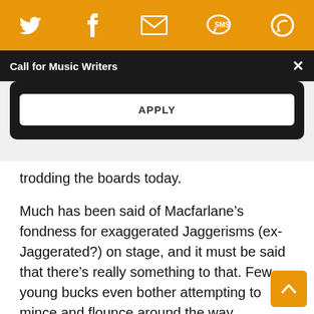[Figure (screenshot): Orange top navigation bar with social media icons: Twitter bird, Facebook f, email envelope, SMS speech bubble, and circular arrow/refresh icon, all in white on orange background]
Call for Music Writers
APPLY
trodding the boards today.
Much has been said of Macfarlane’s fondness for exaggerated Jaggerisms (ex-Jaggerated?) on stage, and it must be said that there’s really something to that. Few young bucks even bother attempting to mince and flounce around the way Macfarlane does. There’s an air of the wan socialite in the way the microphone is scornfully held with a limp, dangling there as Macfarlane gyrates and shimmies. And anyone who’s seen Friendly Fires...